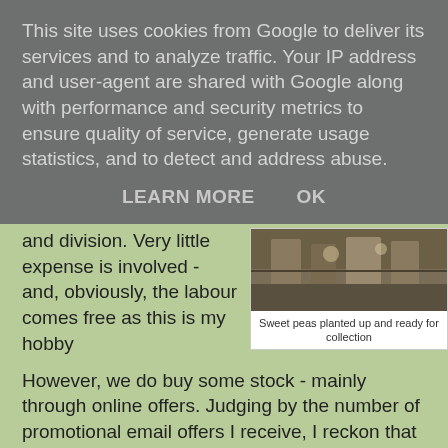This site uses cookies from Google to deliver its services and to analyze traffic. Your IP address and user-agent are shared with Google along with performance and security metrics to ensure quality of service, generate usage statistics, and to detect and address abuse.
LEARN MORE    OK
[Figure (photo): Sweet peas planted up and ready for collection - image of planted items on wooden surface]
Sweet peas planted up and ready for collection
and division. Very little expense is involved - and, obviously, the labour comes free as this is my hobby
However, we do buy some stock - mainly through online offers. Judging by the number of promotional email offers I receive, I reckon that planning horticultural sales is, by its nature, highly speculative. I get very attractive plug plant offers several times a week. Mind you, they are very good at upselling, if I have used the correct marketing term